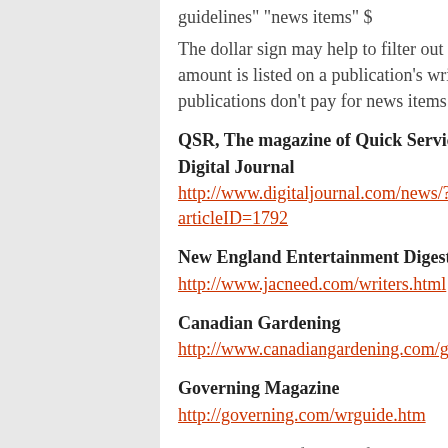guidelines" “news items” $
The dollar sign may help to filter out those insulting, non-paying pubs. If no payment amount is listed on a publication's writer's guidelines, don't waste your time. And, some publications don't pay for news items.
QSR, The magazine of Quick Service Restaurant Success
Digital Journal
http://www.digitaljournal.com/news/?articleID=1792
New England Entertainment Digest
http://www.jacneed.com/writers.html
Canadian Gardening
http://www.canadiangardening.com/guidelines.shtml
Governing Magazine
http://governing.com/wrguide.htm
David Geer is a full-time freelance writer